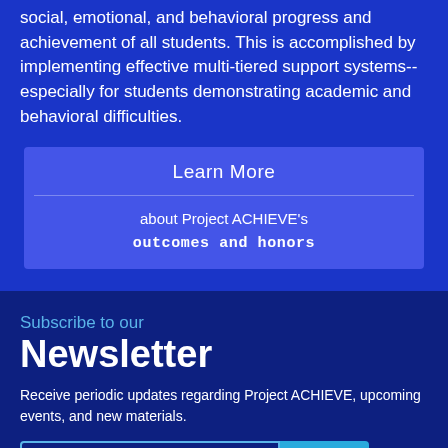social, emotional, and behavioral progress and achievement of all students. This is accomplished by implementing effective multi-tiered support systems--especially for students demonstrating academic and behavioral difficulties.
Learn More
about Project ACHIEVE's outcomes and honors
Subscribe to our Newsletter
Receive periodic updates regarding Project ACHIEVE, upcoming events, and new materials.
Your Email Address  Join